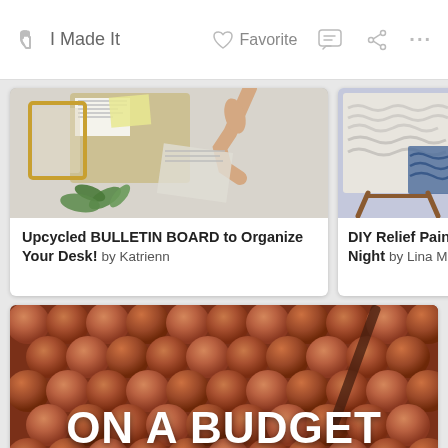I Made It   Favorite
[Figure (photo): Photo of a DIY bulletin board on a wall with papers and plants, person's hand reaching up]
Upcycled BULLETIN BOARD to Organize Your Desk! by Katrienn
[Figure (photo): Partial photo of a DIY relief painting with textured white and blue surface on a wooden stand]
DIY Relief Painting Night by Lina Maria
[Figure (photo): Close-up photo of copper pennies arranged in a pattern with white text overlay reading ON A BUDGET CHALLENGE]